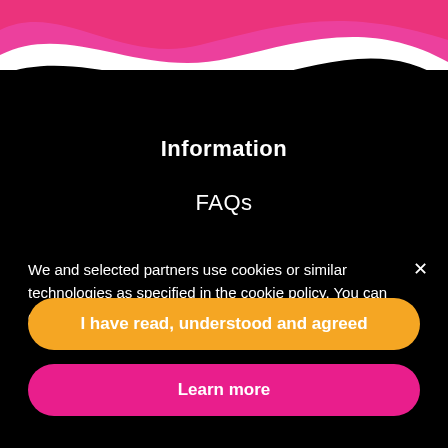[Figure (illustration): Wavy decorative header with orange and pink/magenta wave shapes on white background at top of page]
Information
FAQs
We and selected partners use cookies or similar technologies as specified in the cookie policy. You can change your cookie settings in your browser at any time.
I have read, understood and agreed
Learn more